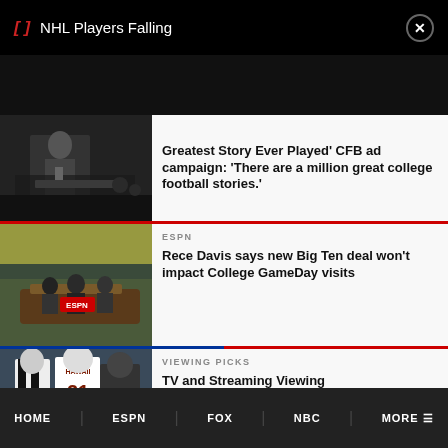NHL Players Falling
[Figure (screenshot): Dark video/image area showing a speaker at a podium with audience]
Greatest Story Ever Played' CFB ad campaign: 'There are a million great college football stories.'
[Figure (photo): ESPN College GameDay set on a football field with stadium crowd]
ESPN
Rece Davis says new Big Ten deal won't impact College GameDay visits
[Figure (photo): Football game with referees and players including Hawaii player number 21]
VIEWING PICKS
TV and Streaming Viewing
HOME  ESPN  FOX  NBC  MORE